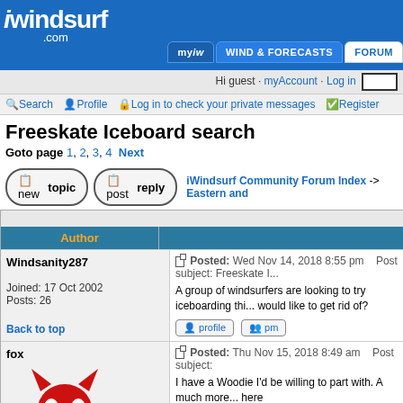iwindsurf.com — Hi guest · myAccount · Log in
Search  Profile  Log in to check your private messages  Register
Freeskate Iceboard search
Goto page 1, 2, 3, 4  Next
new topic   post reply   iWindsurf Community Forum Index -> Eastern and
| Author | Message |
| --- | --- |
| Windsanity287

Joined: 17 Oct 2002
Posts: 26

Back to top | Posted: Wed Nov 14, 2018 8:55 pm   Post subject: Freeskate I...

A group of windsurfers are looking to try iceboarding thi... would like to get rid of?

profile  pm |
| fox

Joined: 09 Sep 1997 | Posted: Thu Nov 15, 2018 8:49 am   Post subject:

I have a Woodie I'd be willing to part with. A much more... here https://www.youtube.com/watch?v=957HSTEvSSo

PM me if you are interested. |